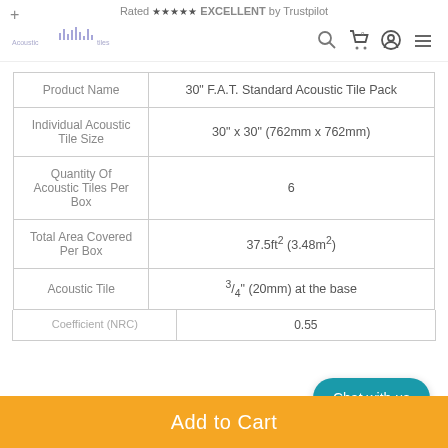Rated ★★★★★ EXCELLENT by Trustpilot
[Figure (logo): Acoustic tiles website logo with waveform graphic]
| Property | Value |
| --- | --- |
| Product Name | 30" F.A.T. Standard Acoustic Tile Pack |
| Individual Acoustic Tile Size | 30" x 30" (762mm x 762mm) |
| Quantity Of Acoustic Tiles Per Box | 6 |
| Total Area Covered Per Box | 37.5ft² (3.48m²) |
| Acoustic Tile | 3/4" (20mm) at the base |
| Coefficient (NRC) | 0.55 |